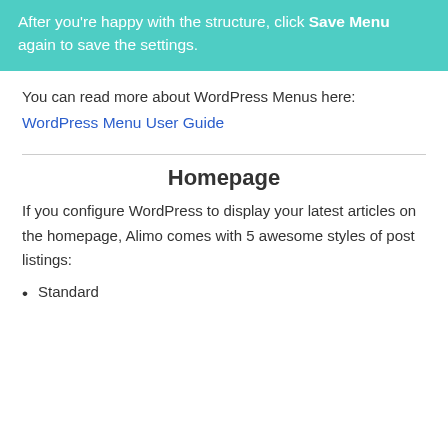After you're happy with the structure, click Save Menu again to save the settings.
You can read more about WordPress Menus here:
WordPress Menu User Guide
Homepage
If you configure WordPress to display your latest articles on the homepage, Alimo comes with 5 awesome styles of post listings:
Standard